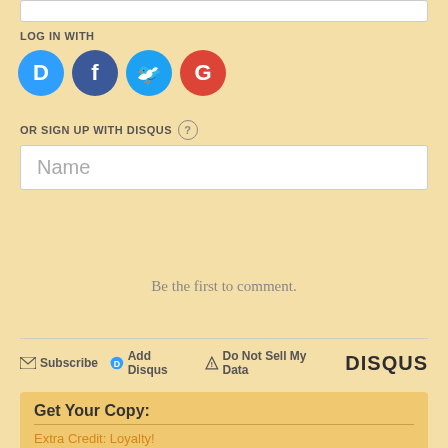LOG IN WITH
[Figure (other): Social login icons: Disqus (blue), Facebook (dark blue), Twitter (light blue), Google (red)]
OR SIGN UP WITH DISQUS ?
Name
Be the first to comment.
Subscribe  Add Disqus  Do Not Sell My Data  DISQUS
Get Your Copy:
Extra Credit: Loyalty!